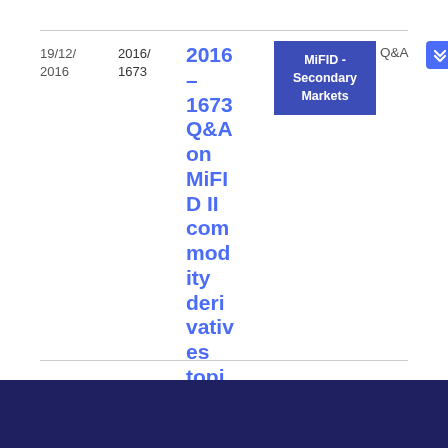| Date | Reference | Title | Topic | Type | Format | Size |
| --- | --- | --- | --- | --- | --- | --- |
| 19/12/2016 | 2016/1673 | 2016 – 1673 Q&A on MiFID II commodity derivatives topics | MiFID - Secondary Markets | Q&A | PDF | 33
8.93 KB |